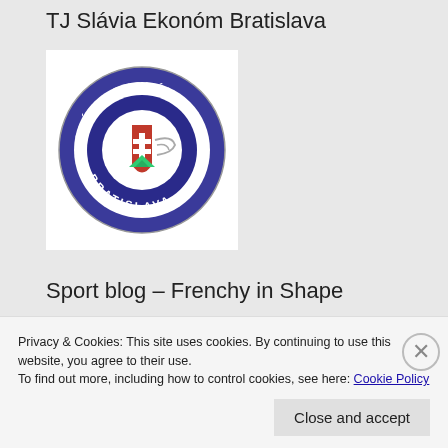TJ Slávia Ekonóm Bratislava
[Figure (logo): Circular logo of TJ Slávia Ekonóm Bratislava — blue and white circular badge with Slovak coat of arms (red shield with white cross) in the center, surrounded by text 'SLÁVIA EKONOM BRATISLAVA' around the border.]
Sport blog – Frenchy in Shape
[Figure (illustration): Black and white illustration of two boxing gloves hanging together.]
Privacy & Cookies: This site uses cookies. By continuing to use this website, you agree to their use.
To find out more, including how to control cookies, see here: Cookie Policy
AUGUST 17 IS AG